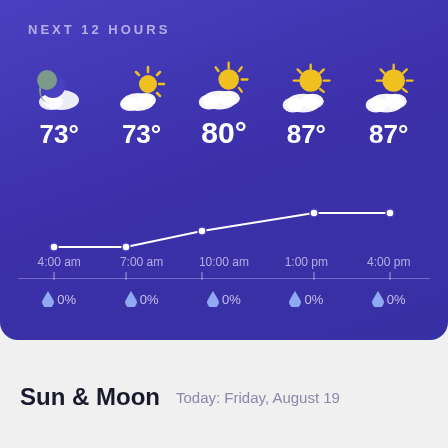NEXT 12 HOURS
[Figure (infographic): Weather forecast for next 12 hours showing 5 time slots (4:00 am, 7:00 am, 10:00 am, 1:00 pm, 4:00 pm) with weather icons, temperatures (73°, 73°, 80°, 87°, 87°), a temperature trend line, tick marks, and precipitation percentages (all 0%)]
Sun & Moon   Today: Friday, August 19